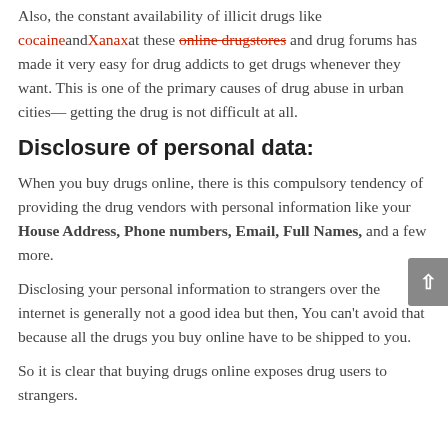Also, the constant availability of illicit drugs like cocaine and Xanax at these online drugstores and drug forums has made it very easy for drug addicts to get drugs whenever they want. This is one of the primary causes of drug abuse in urban cities—getting the drug is not difficult at all.
Disclosure of personal data:
When you buy drugs online, there is this compulsory tendency of providing the drug vendors with personal information like your House Address, Phone numbers, Email, Full Names, and a few more.
Disclosing your personal information to strangers over the internet is generally not a good idea but then, You can't avoid that because all the drugs you buy online have to be shipped to you.
So it is clear that buying drugs online exposes drug users to strangers.